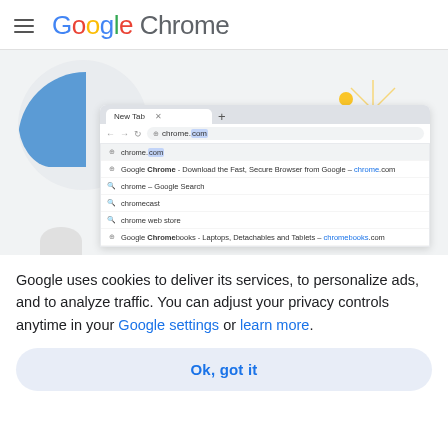Google Chrome
[Figure (screenshot): Screenshot of Google Chrome browser showing address bar with 'chrome.com' typed and a dropdown autocomplete list with suggestions including Google Chrome download page, chrome Google Search, chromecast, chrome web store, and Google Chromebooks.]
Google uses cookies to deliver its services, to personalize ads, and to analyze traffic. You can adjust your privacy controls anytime in your Google settings or learn more.
Ok, got it